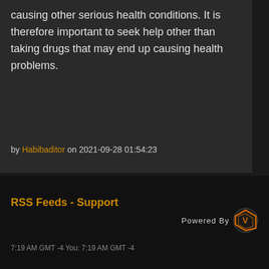causing other serious health conditions. It is therefore important to seek help other than taking drugs that may end up causing health problems.
by Habibaditor on 2021-09-28 01:54:23
RSS Feeds - Support
Powered By
7:19 AM GMT -4 You: 7:19 AM GMT -4